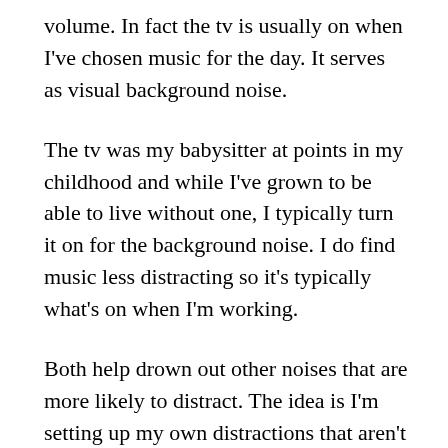volume. In fact the tv is usually on when I've chosen music for the day. It serves as visual background noise.
The tv was my babysitter at points in my childhood and while I've grown to be able to live without one, I typically turn it on for the background noise. I do find music less distracting so it's typically what's on when I'm working.
Both help drown out other noises that are more likely to distract. The idea is I'm setting up my own distractions that aren't as distracting to me and more likely to fade into the background. The music might cover up a lawn mower outside or my neighbor who enjoys working with a chainsaw.